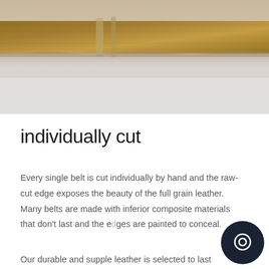[Figure (photo): Close-up photograph of a leather belt showing the raw cut edge and grain texture of the leather against a light gray background]
individually cut
Every single belt is cut individually by hand and the raw-cut edge exposes the beauty of the full grain leather. Many belts are made with inferior composite materials that don't last and the edges are painted to conceal.
Our durable and supple leather is selected to last